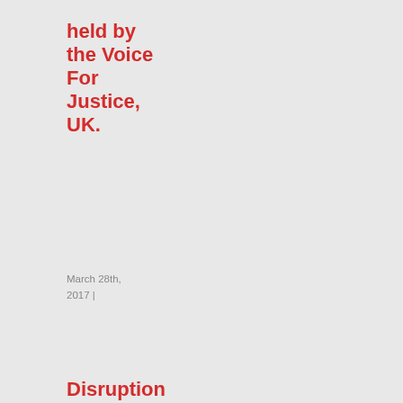held by the Voice For Justice, UK.
March 28th, 2017 |
Disruption of a Church service: a must watch!
March 20th, 2017 |
[Figure (photo): A dark photograph showing a person outdoors near a stone or brick wall structure]